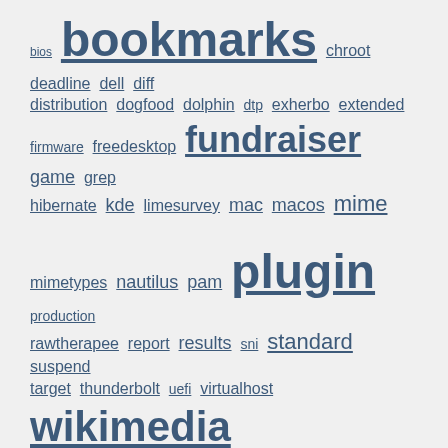[Figure (other): A tag cloud displaying various hyperlinked tags in different font sizes indicating frequency/weight. Tags include: bios, bookmarks, chroot, deadline, dell, diff, distribution, dogfood, dolphin, dtp, exherbo, extended, firmware, freedesktop, fundraiser, game, grep, hibernate, kde, limesurvey, mac, macos, mime, mimetypes, nautilus, pam, plugin, production, rawtherapee, report, results, sni, standard, suspend, target, thunderbolt, uefi, virtualhost, wikimedia, wikipedia, xps13, html, serendipity, underscore, audi, avi, avidemux, bmw, bosch, catalyst, defeat device, diesel, dv, ecu, edc, emission, emissions, exhaust, ffmpeg, json, legal, media, mpeg2, porsche, presentation, presentations, renault, retro, reverse engineering, scr, transcode, VW, gif, icq, online presence, status]